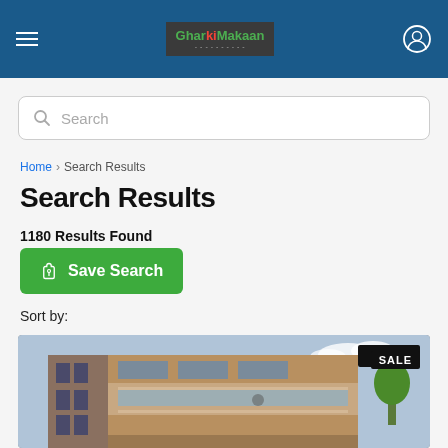GharKiMakaan — navigation header with hamburger menu and user icon
Search
Home > Search Results
Search Results
1180 Results Found
Save Search
Sort by:
[Figure (photo): Exterior photo of a multi-storey residential building with brown/brick facade, balconies, and glass railings. A 'SALE' badge is visible in the top-right corner.]